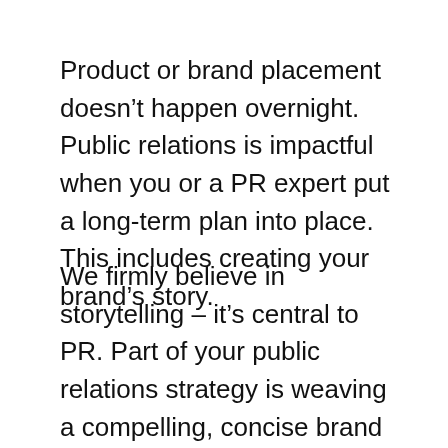Product or brand placement doesn't happen overnight. Public relations is impactful when you or a PR expert put a long-term plan into place. This includes creating your brand's story.
We firmly believe in storytelling – it's central to PR. Part of your public relations strategy is weaving a compelling, concise brand story. Along with line sheets, and press release (if needed) we also create your brand's story. We begin this the day we start